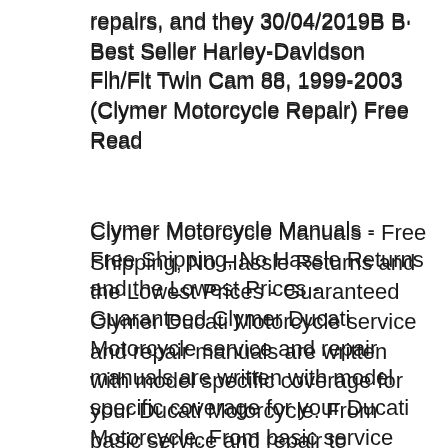repairs, and they 30/04/2019B B· Best Seller Harley-Davidson Flh/Flt Twin Cam 88, 1999-2003 (Clymer Motorcycle Repair) Free Read
Clymer Motorcycle Manuals - Free Shipping, No Hassle Returns and the Lowest Prices - Guaranteed Clymer Ducati Motorcycle service and repair manuals are written with model specific coverage for your Ducati Motorcycle. From basic service and repair to complete overhauls, our Ducati manuals provide the information you need.
07/05/2019B B· Do you want to remove all your recent searches? All recent searches will be deleted Clymer